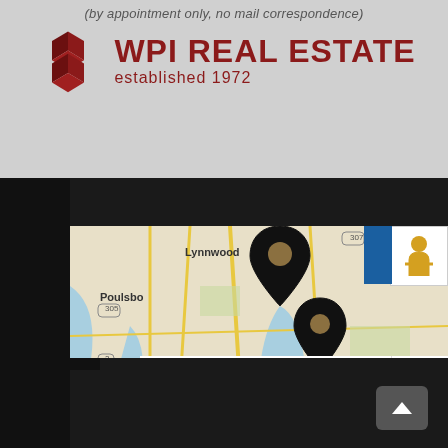(by appointment only, no mail correspondence)
[Figure (logo): WPI Real Estate logo with red cube/diamond shapes and text 'WPI REAL ESTATE established 1972']
[Figure (map): Google Maps screenshot showing Seattle area including Bothell, Redmond, Poulsbo, Silverdale, Bremerton, Issaquah, Renton with two map pin markers. Map data ©2022 Google, 10 km scale bar.]